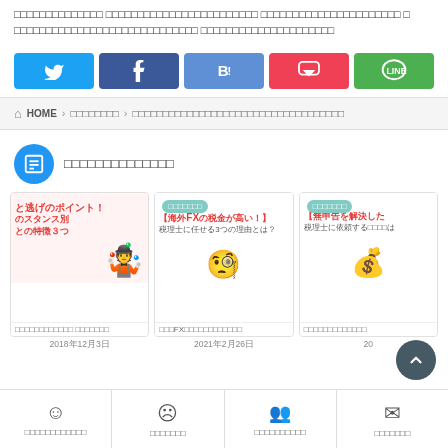□□□□□□□□□□□□□□ □□□□□□□□□□□□□□□□□□□□□□□□ □□□□□□□□□□□□□□□□□□□□□□ □ □□□□□□□□□□□□□□□□□□□□□□□□□□□□ □□□□□□□□□□□□□□□□□□□□□
[Figure (screenshot): Social share buttons: Twitter (blue), Facebook (dark blue), Hatena Bookmark (B!, medium blue), Pocket (red), LINE (green)]
HOME > □□□□□□□□ > □□□□□□□□□□□□□□□□□□□□□□□□□□□□□□□□□□□
□□□□□□□□□□□□□□
[Figure (screenshot): Three article cards: 1) Red Japanese text about points, character illustration; 2) Article about overseas FX tax with tag, illustration of person thinking; 3) Article about non-declaration resolution with tag, character illustration]
□□□□□□□□□□□□ □□□□□□□□□ □□□□□□□□□□ □□□□□□□
2018年12月3日 2021年2月26日